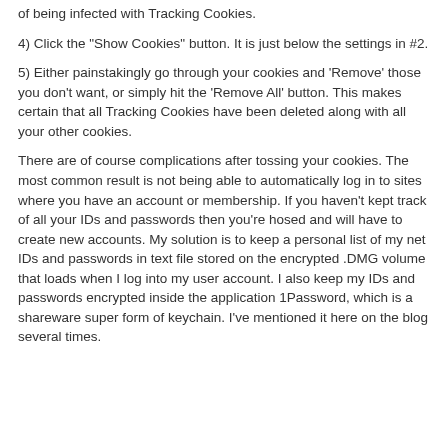4) Click the "Show Cookies" button. It is just below the settings in #2.
5) Either painstakingly go through your cookies and 'Remove' those you don't want, or simply hit the 'Remove All' button. This makes certain that all Tracking Cookies have been deleted along with all your other cookies.
There are of course complications after tossing your cookies. The most common result is not being able to automatically log in to sites where you have an account or membership. If you haven't kept track of all your IDs and passwords then you're hosed and will have to create new accounts. My solution is to keep a personal list of my net IDs and passwords in text file stored on the encrypted .DMG volume that loads when I log into my user account. I also keep my IDs and passwords encrypted inside the application 1Password, which is a shareware super form of keychain. I've mentioned it here on the blog several times.